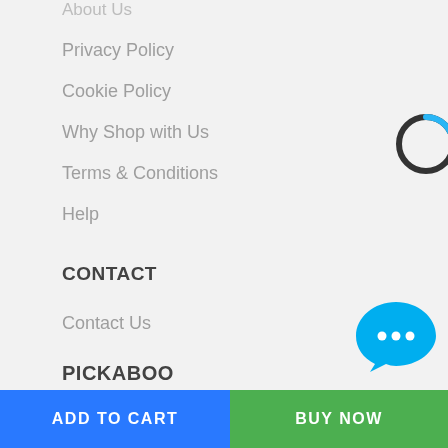About Us
Privacy Policy
Cookie Policy
Why Shop with Us
Terms & Conditions
Help
CONTACT
Contact Us
PICKABOO
House 10, Road 12
Block F, Niketan, Gulshan 1,
Dhaka - 1212, Bangladesh
[Figure (other): Loading spinner circle — dark ring with a small blue arc at the top]
[Figure (other): Blue chat bubble icon with three dots (ellipsis) inside]